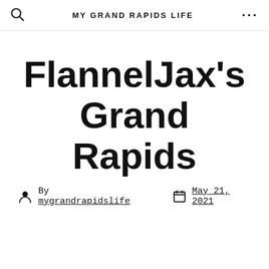MY GRAND RAPIDS LIFE
FlannelJax's Grand Rapids
By mygrandrapidslife   May 21, 2021